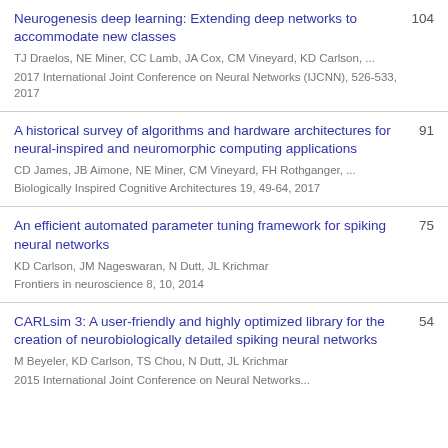Neurogenesis deep learning: Extending deep networks to accommodate new classes
TJ Draelos, NE Miner, CC Lamb, JA Cox, CM Vineyard, KD Carlson, ...
2017 International Joint Conference on Neural Networks (IJCNN), 526-533, 2017
104
A historical survey of algorithms and hardware architectures for neural-inspired and neuromorphic computing applications
CD James, JB Aimone, NE Miner, CM Vineyard, FH Rothganger, ...
Biologically Inspired Cognitive Architectures 19, 49-64, 2017
91
An efficient automated parameter tuning framework for spiking neural networks
KD Carlson, JM Nageswaran, N Dutt, JL Krichmar
Frontiers in neuroscience 8, 10, 2014
75
CARLsim 3: A user-friendly and highly optimized library for the creation of neurobiologically detailed spiking neural networks
M Beyeler, KD Carlson, TS Chou, N Dutt, JL Krichmar
2015 International Joint Conference on Neural Networks...
54